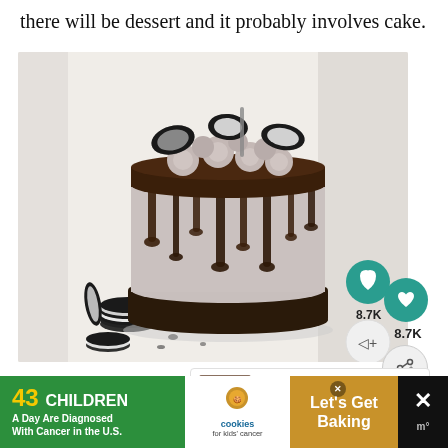there will be dessert and it probably involves cake.
[Figure (photo): A layered Oreo drip cake on a white surface with chocolate ganache dripping down the sides, topped with swirled cream rosettes and Oreo cookies, surrounded by scattered Oreo cookies on a white background.]
WHAT'S NEXT → Cookies and Cream...
43 CHILDREN A Day Are Diagnosed With Cancer in the U.S.
cookies for kids' cancer
Let's Get Baking